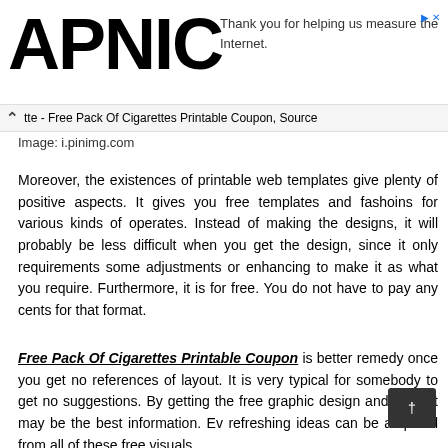APNIC — Thank you for helping us measure the Internet.
tte - Free Pack Of Cigarettes Printable Coupon, Source Image: i.pinimg.com
Moreover, the existences of printable web templates give plenty of positive aspects. It gives you free templates and fashoins for various kinds of operates. Instead of making the designs, it will probably be less difficult when you get the design, since it only requirements some adjustments or enhancing to make it as what you require. Furthermore, it is for free. You do not have to pay any cents for that format.
Free Pack Of Cigarettes Printable Coupon is better remedy once you get no references of layout. It is very typical for somebody to get no suggestions. By getting the free graphic design and style, it may be the best information. Even refreshing ideas can be acquired from all of these free visuals.